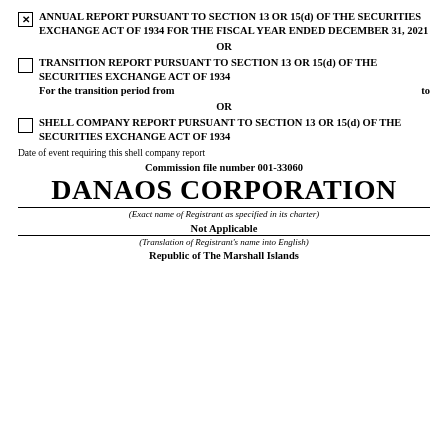☒ ANNUAL REPORT PURSUANT TO SECTION 13 OR 15(d) OF THE SECURITIES EXCHANGE ACT OF 1934 FOR THE FISCAL YEAR ENDED DECEMBER 31, 2021
OR
☐ TRANSITION REPORT PURSUANT TO SECTION 13 OR 15(d) OF THE SECURITIES EXCHANGE ACT OF 1934
For the transition period from                    to
OR
☐ SHELL COMPANY REPORT PURSUANT TO SECTION 13 OR 15(d) OF THE SECURITIES EXCHANGE ACT OF 1934
Date of event requiring this shell company report
Commission file number 001-33060
DANAOS CORPORATION
(Exact name of Registrant as specified in its charter)
Not Applicable
(Translation of Registrant's name into English)
Republic of The Marshall Islands